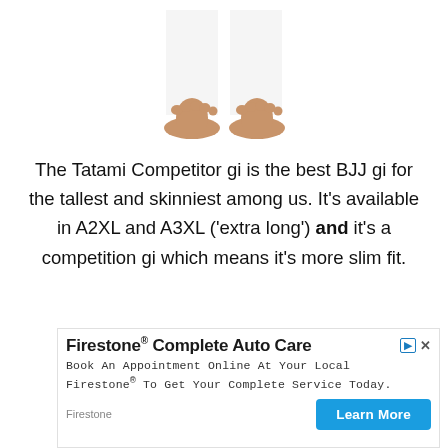[Figure (photo): Bottom portion of a person wearing white pants/gi, showing bare feet standing on white background]
The Tatami Competitor gi is the best BJJ gi for the tallest and skinniest among us. It's available in A2XL and A3XL ('extra long') and it's a competition gi which means it's more slim fit.
[Figure (screenshot): Advertisement for Firestone Complete Auto Care. Text: 'Book An Appointment Online At Your Local Firestone® To Get Your Complete Service Today.' with a 'Learn More' button.]